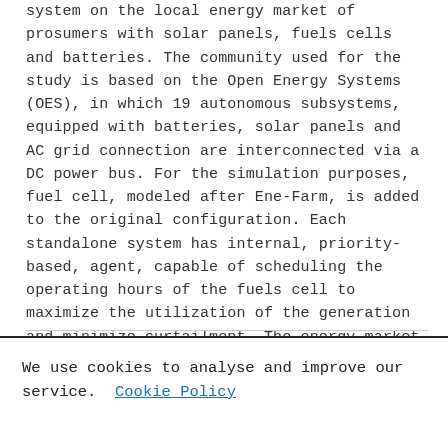system on the local energy market of prosumers with solar panels, fuels cells and batteries. The community used for the study is based on the Open Energy Systems (OES), in which 19 autonomous subsystems, equipped with batteries, solar panels and AC grid connection are interconnected via a DC power bus. For the simulation purposes, fuel cell, modeled after Ene-Farm, is added to the original configuration. Each standalone system has internal, priority-based, agent, capable of scheduling the operating hours of the fuels cell to maximize the utilization of the generation and minimize curtailment. The energy market is based on a simplified version of the Zaraba, a continuous double auction algorithm used by the Japanese Stock Exchange, in which prosumer can submit a bid for a future timeslot. The preliminary numerical evaluation is based on the results from several simulations using different versions of the internal management system.
Original language
We use cookies to analyse and improve our service. Cookie Policy